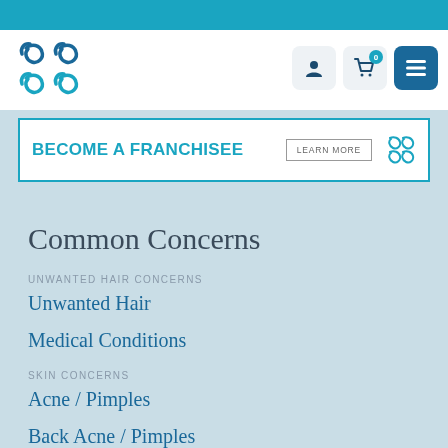[Figure (logo): Brand logo with swirl/leaf shapes in teal/dark blue]
[Figure (screenshot): Navigation icons: user profile, shopping cart with 0, hamburger menu]
BECOME A FRANCHISEE  LEARN MORE
Common Concerns
UNWANTED HAIR CONCERNS
Unwanted Hair
Medical Conditions
SKIN CONCERNS
Acne / Pimples
Back Acne / Pimples